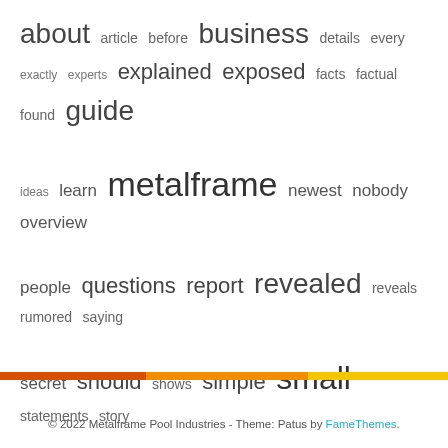[Figure (infographic): Tag/word cloud containing terms: about, article, before, business, details, every, exactly, experts, explained, exposed, facts, factual, found, guide, ideas, learn, metalframe, newest, nobody, overview, people, questions, report, revealed, reveals, rumored, saying, secret, should, shows, simple, small, statements, story, techniques, things, today, trick, unanswered, unbiased, unknown, unveiled, useful, wrong, youve]
© 2022 Metalframe Pool Industries - Theme: Patus by FameThemes.